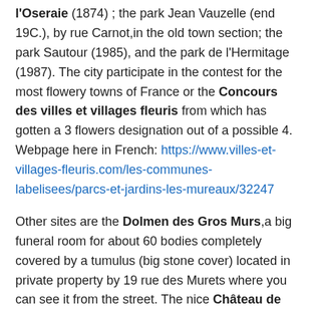l'Oseraie (1874) ; the park Jean Vauzelle (end 19C.), by rue Carnot,in the old town section; the park Sautour (1985), and the park de l'Hermitage (1987). The city participate in the contest for the most flowery towns of France or the Concours des villes et villages fleuris from which has gotten a 3 flowers designation out of a possible 4. Webpage here in French: https://www.villes-et-villages-fleuris.com/les-communes-labelisees/parcs-et-jardins-les-mureaux/32247
Other sites are the Dolmen des Gros Murs,a big funeral room for about 60 bodies completely covered by a tumulus (big stone cover) located in private property by 19 rue des Murets where you can see it from the street. The nice Château de Bécheville 17C that was visited by the writer n Stendhal in 1811 ; the castle renovated in the 19C today houses the Conservatoire or music